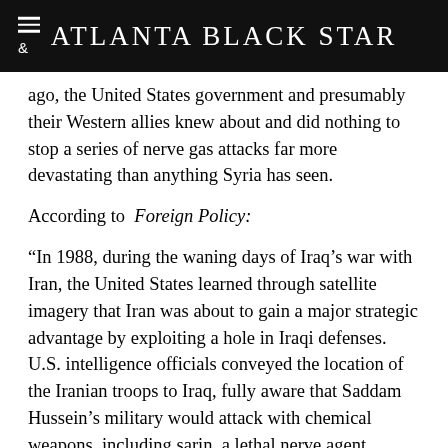Atlanta Black Star
ago, the United States government and presumably their Western allies knew about and did nothing to stop a series of nerve gas attacks far more devastating than anything Syria has seen.
According to  Foreign Policy:
“In 1988, during the waning days of Iraq’s war with Iran, the United States learned through satellite imagery that Iran was about to gain a major strategic advantage by exploiting a hole in Iraqi defenses. U.S. intelligence officials conveyed the location of the Iranian troops to Iraq, fully aware that Saddam Hussein’s military would attack with chemical weapons, including sarin, a lethal nerve agent.
“The intelligence included imagery and maps about Iranian